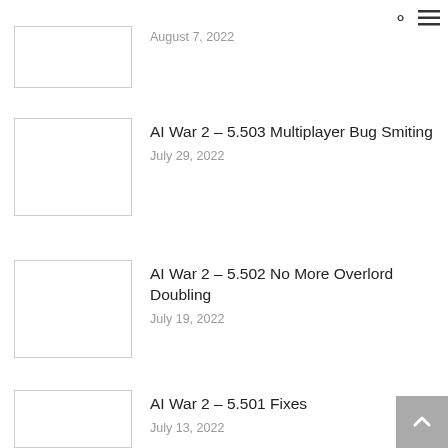search and menu icons
August 7, 2022
AI War 2 – 5.503 Multiplayer Bug Smiting
July 29, 2022
AI War 2 – 5.502 No More Overlord Doubling
July 19, 2022
AI War 2 – 5.501 Fixes
July 13, 2022